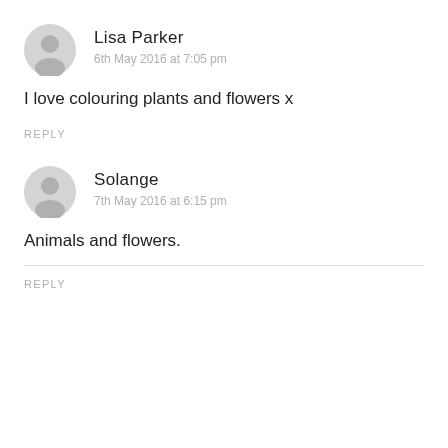Lisa Parker
6th May 2016 at 7:05 pm
I love colouring plants and flowers x
REPLY
Solange
7th May 2016 at 6:15 pm
Animals and flowers.
REPLY